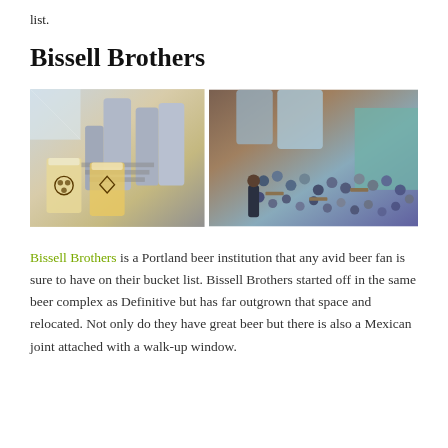list.
Bissell Brothers
[Figure (photo): Two side-by-side photos of Bissell Brothers brewery: left shows two branded beer glasses in front of brewing equipment; right shows a crowded taproom with people seated at tables viewed from above.]
Bissell Brothers is a Portland beer institution that any avid beer fan is sure to have on their bucket list. Bissell Brothers started off in the same beer complex as Definitive but has far outgrown that space and relocated. Not only do they have great beer but there is also a Mexican joint attached with a walk-up window.